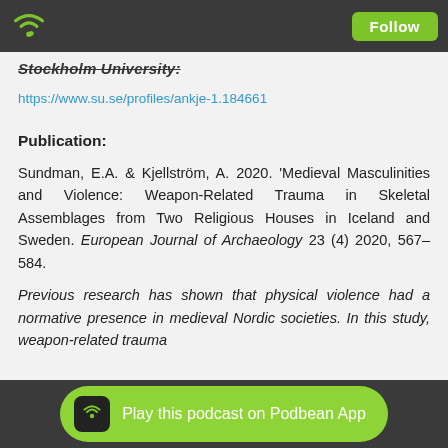Stockholm University  [Follow button]
Stockholm University:
https://www.su.se/profiles/ankje-1.184661
Publication:
Sundman, E.A. & Kjellström, A. 2020. 'Medieval Masculinities and Violence: Weapon-Related Trauma in Skeletal Assemblages from Two Religious Houses in Iceland and Sweden. European Journal of Archaeology 23 (4) 2020, 567–584.
Previous research has shown that physical violence had a normative presence in medieval Nordic societies. In this study, weapon-related trauma
Play this podcast on Podbean App